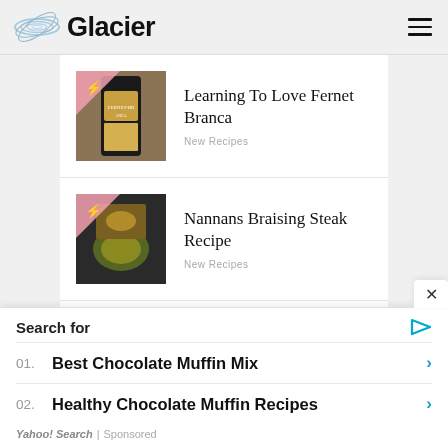Glacier
[Figure (screenshot): Article thumbnail for Fernet Branca article with pink corner and lightning icon]
Learning To Love Fernet Branca
New Recipes
[Figure (screenshot): Article thumbnail for Nannans Braising Steak Recipe with pink corner and lightning icon]
Nannans Braising Steak Recipe
New Recipes
[Figure (screenshot): Partial article thumbnail with pink corner and number 4]
Search for
01. Best Chocolate Muffin Mix
02. Healthy Chocolate Muffin Recipes
Yahoo! Search | Sponsored